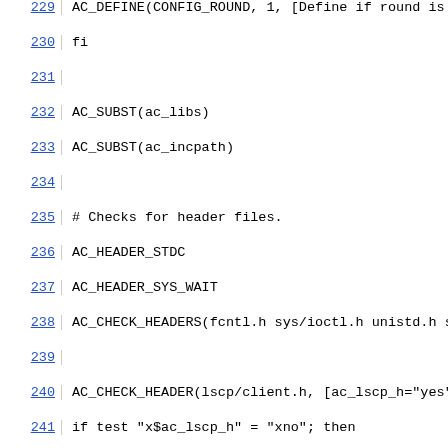229   AC_DEFINE(CONFIG_ROUND, 1, [Define if round is a
230   fi
231
232   AC_SUBST(ac_libs)
233   AC_SUBST(ac_incpath)
234
235   # Checks for header files.
236   AC_HEADER_STDC
237   AC_HEADER_SYS_WAIT
238   AC_CHECK_HEADERS(fcntl.h sys/ioctl.h unistd.h signa
239
240   AC_CHECK_HEADER(lscp/client.h, [ac_lscp_h="yes"], [
241   if test "x$ac_lscp_h" = "xno"; then
242       AC_MSG_ERROR([LSCP headers not found.])
243   fi
244
245   # Checks for typedefs, structures, and compiler cha
246   # AC_C_CONST
247
248   # Checks for library functions.
249   AC_CHECK_FUNCS(system)
250
251   # Finally produce a configure header file and the m